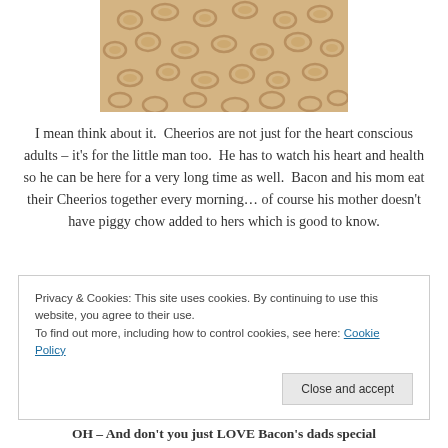[Figure (photo): Close-up photo of Cheerios cereal pieces, golden/tan colored rings piled together]
I mean think about it.  Cheerios are not just for the heart conscious adults – it's for the little man too.  He has to watch his heart and health so he can be here for a very long time as well.  Bacon and his mom eat their Cheerios together every morning… of course his mother doesn't have piggy chow added to hers which is good to know.
Privacy & Cookies: This site uses cookies. By continuing to use this website, you agree to their use.
To find out more, including how to control cookies, see here: Cookie Policy
OH – And don't you just LOVE Bacon's dads special